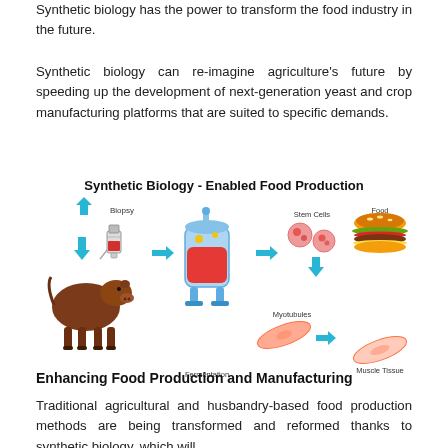Synthetic biology has the power to transform the food industry in the future.
Synthetic biology can re-imagine agriculture's future by speeding up the development of next-generation yeast and crop manufacturing platforms that are suited to specific demands.
[Figure (infographic): Diagram titled 'Synthetic Biology - Enabled Food Production' showing a process flow: a cow with an upward arrow, a biopsy syringe, arrows pointing to a fermentation bioreactor, then stem cells, then a hamburger (Food) at the top right, and myotubules leading to muscle tissue at the bottom right.]
Enhancing Food Production and Manufacturing
Traditional agricultural and husbandry-based food production methods are being transformed and reformed thanks to synthetic biology, which will